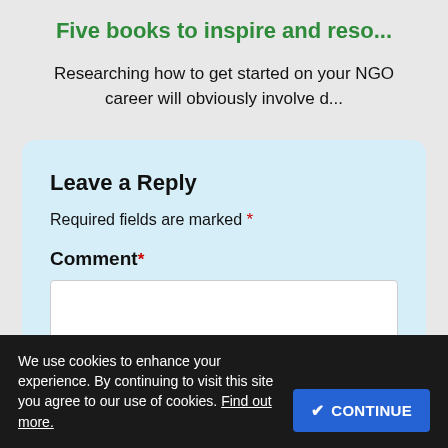Five books to inspire and reso...
Researching how to get started on your NGO career will obviously involve d...
Leave a Reply
Required fields are marked *
Comment *
We use cookies to enhance your experience. By continuing to visit this site you agree to our use of cookies. Find out more.